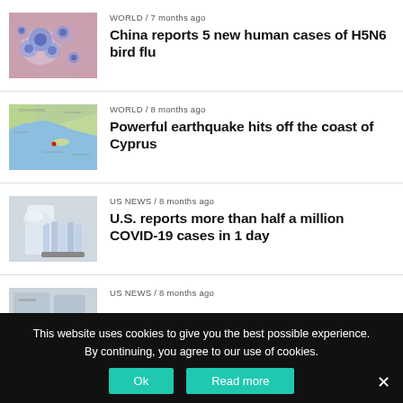[Figure (photo): Microscope image of H5N6 bird flu virus, blue circular shapes on pink background]
WORLD / 7 months ago
China reports 5 new human cases of H5N6 bird flu
[Figure (map): Map showing Cyprus region / Eastern Mediterranean]
WORLD / 8 months ago
Powerful earthquake hits off the coast of Cyprus
[Figure (photo): Lab technician in gloves working with test tubes]
US NEWS / 8 months ago
U.S. reports more than half a million COVID-19 cases in 1 day
[Figure (photo): Partial view of a fourth news article image, cropped]
US NEWS / 8 months ago
This website uses cookies to give you the best possible experience. By continuing, you agree to our use of cookies.